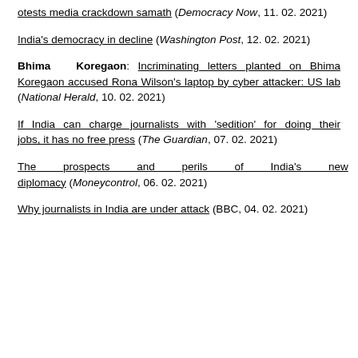otests media crackdown samath (Democracy Now, 11. 02. 2021)
India's democracy in decline (Washington Post, 12. 02. 2021)
Bhima Koregaon: Incriminating letters planted on Bhima Koregaon accused Rona Wilson's laptop by cyber attacker: US lab (National Herald, 10. 02. 2021)
If India can charge journalists with 'sedition' for doing their jobs, it has no free press (The Guardian, 07. 02. 2021)
The prospects and perils of India's new diplomacy (Moneycontrol, 06. 02. 2021)
Why journalists in India are under attack (BBC, 04. 02. 2021)